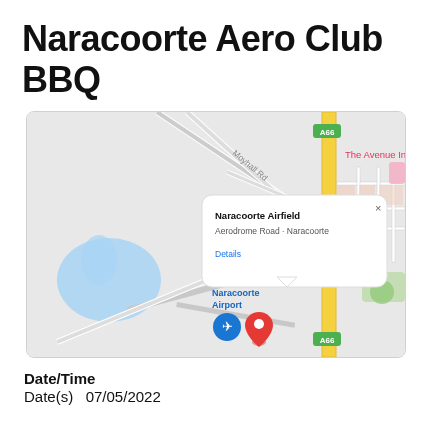Naracoorte Aero Club BBQ
[Figure (map): Google Maps screenshot showing Naracoorte Airfield location with a popup info window reading 'Naracoorte Airfield, Aerodrome Road - Naracoorte, Details'. Map shows roads, A66 highway in yellow, blue water body on left, The Avenue Inn label top right, Naracoorte Airport label with plane icon and red location pin in center.]
Date/Time
Date(s)   07/05/2022